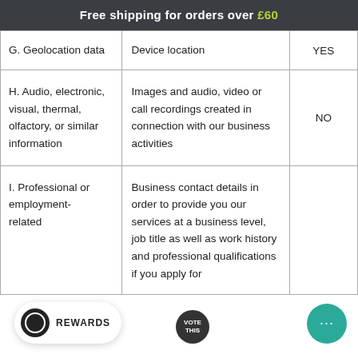Free shipping for orders over £60
| Category | Examples | Collected |
| --- | --- | --- |
| G. Geolocation data | Device location | YES |
| H. Audio, electronic, visual, thermal, olfactory, or similar information | Images and audio, video or call recordings created in connection with our business activities | NO |
| I. Professional or employment-related... | Business contact details in order to provide you our services at a business level, job title as well as work history and professional qualifications if you apply for |  |